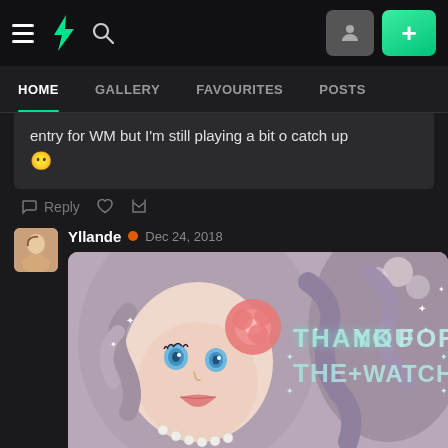DeviantArt navigation bar with hamburger menu, logo, search icon, user avatar button, and + button
HOME | GALLERY | FAVOURITES | POSTS
entry for WM but I'm still playing a bit o catch up 😶
Reply ♡ ↩
Yllande • Dec 24, 2018
[Figure (illustration): Anime-style illustration of a woman with curly hair, floral accessories, pearls, blue eyes. Text overlay reads THANK YOU FOR THE +WATCH in light blue sparkly letters.]
Reply ♡ ↩